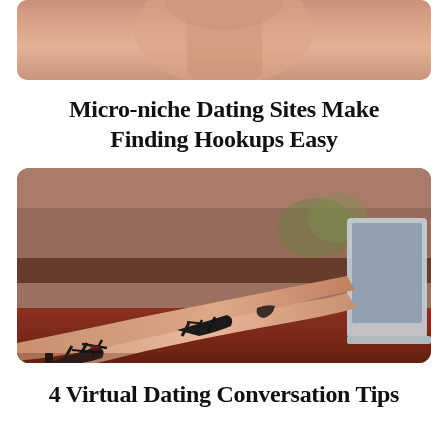[Figure (photo): Cropped close-up photo of a woman's face/neck from below, warm skin tones]
Micro-niche Dating Sites Make Finding Hookups Easy
[Figure (photo): Photo of a woman's legs resting on a surface wearing black strappy heeled sandals, with a laptop visible in the background, warm indoor setting]
4 Virtual Dating Conversation Tips